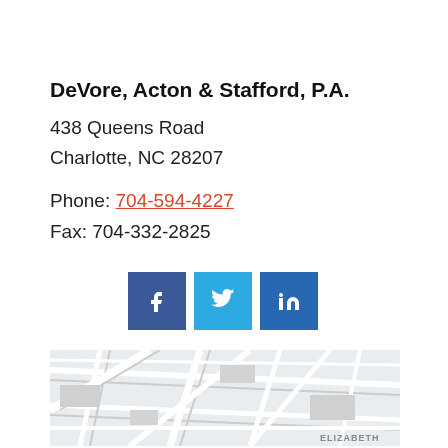DeVore, Acton & Stafford, P.A.
438 Queens Road
Charlotte, NC 28207
Phone: 704-594-4227
Fax: 704-332-2825
[Figure (infographic): Three social media buttons: Facebook (dark blue), Twitter (light blue), LinkedIn (medium blue), each showing white icon]
[Figure (map): Street map showing area around 438 Queens Road, Charlotte NC, with road grid and ELIZABETH label visible]